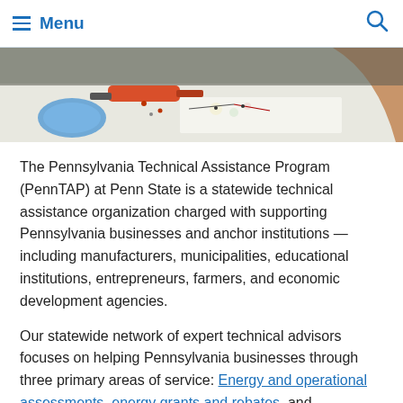Menu
[Figure (photo): Person working at a workbench with electronics, soldering iron, and components scattered on a white table.]
The Pennsylvania Technical Assistance Program (PennTAP) at Penn State is a statewide technical assistance organization charged with supporting Pennsylvania businesses and anchor institutions — including manufacturers, municipalities, educational institutions, entrepreneurs, farmers, and economic development agencies.
Our statewide network of expert technical advisors focuses on helping Pennsylvania businesses through three primary areas of service: Energy and operational assessments, energy grants and rebates, and